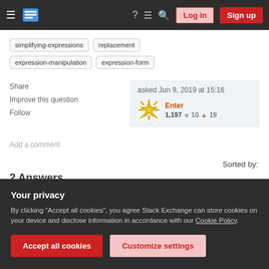Stack Exchange navigation bar with Log in and Sign up buttons
simplifying-expressions
replacement
expression-manipulation
expression-form
Share
Improve this question
Follow
asked Jun 9, 2019 at 15:16
Enter
1,197  ◆10  ▲19
Add a comment
Sorted by:
2 Answers
Your privacy
By clicking "Accept all cookies", you agree Stack Exchange can store cookies on your device and disclose information in accordance with our Cookie Policy.
Accept all cookies
Customize settings